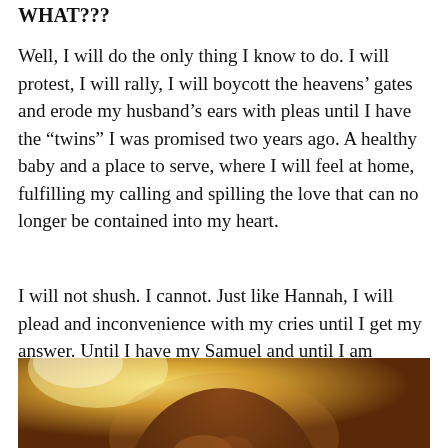WHAT???
Well, I will do the only thing I know to do. I will protest, I will rally, I will boycott the heavens’ gates and erode my husband’s ears with pleas until I have the “twins” I was promised two years ago. A healthy baby and a place to serve, where I will feel at home, fulfilling my calling and spilling the love that can no longer be contained into my heart.
I will not shush. I cannot. Just like Hannah, I will plead and inconvenience with my cries until I get my answer. Until I have my Samuel and until I am assigned my role in His temple.
[Figure (photo): Bottom portion of a person's head with brown hair, shot against a warm golden/orange background. Only the top of the head and hair are visible.]